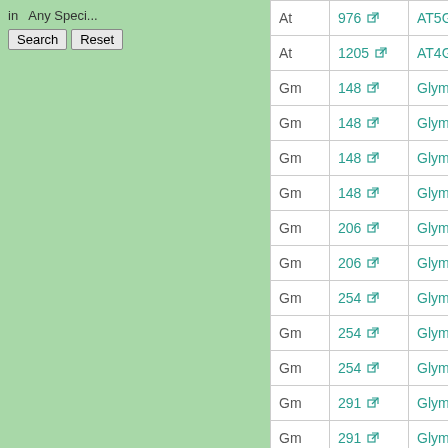| Species | ID | Gene |
| --- | --- | --- |
| At | 976 | AT5G51660.1 |
| At | 1205 | AT4G29820.1 |
| Gm | 148 | Glyma01g03610.1 |
| Gm | 148 | Glyma01g03610.2 |
| Gm | 148 | Glyma09g36870.1 |
| Gm | 148 | Glyma12g00510.1 |
| Gm | 206 | Glyma05g34330.1 |
| Gm | 206 | Glyma08g05320.1 |
| Gm | 254 | Glyma04g04180.1 |
| Gm | 254 | Glyma06g04360.1 |
| Gm | 254 | Glyma06g04360.2 |
| Gm | 291 | Glyma02g33770.1 |
| Gm | 291 | Glyma10g16090.1 |